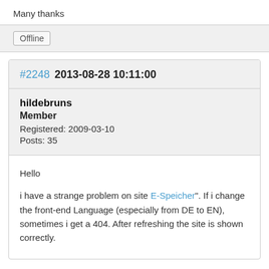Many thanks
Offline
#2248  2013-08-28 10:11:00
hildebruns
Member
Registered: 2009-03-10
Posts: 35
Hello

i have a strange problem on site E-Speicher". If i change the front-end Language (especially from DE to EN), sometimes i get a 404. After refreshing the site is shown correctly.